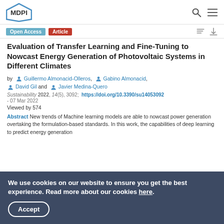MDPI
Evaluation of Transfer Learning and Fine-Tuning to Nowcast Energy Generation of Photovoltaic Systems in Different Climates
by Guillermo Almonacid-Olleros, Gabino Almonacid, David Gil and Javier Medina-Quero
Sustainability 2022, 14(5), 3092; https://doi.org/10.3390/su14053092 - 07 Mar 2022
Viewed by 574
Abstract New trends of Machine learning models are able to nowcast power generation overtaking the formulation-based standards. In this work, the capabilities of deep learning to predict energy generation
We use cookies on our website to ensure you get the best experience. Read more about our cookies here.
Accept